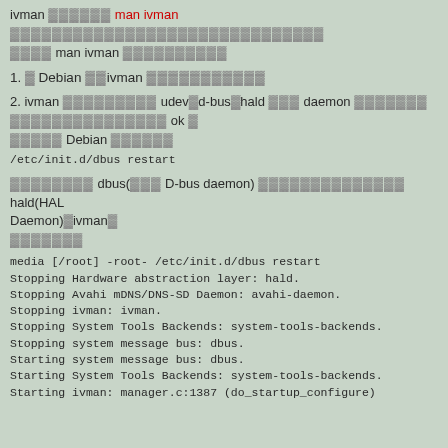ivman ▓▓▓▓▓▓ man ivman ▓▓▓▓▓▓▓▓▓▓▓▓▓▓▓▓▓▓▓▓▓▓▓▓▓▓▓▓▓▓ ▓▓▓▓ man ivman ▓▓▓▓▓▓▓▓▓▓
1. ▓ Debian ▓▓ivman ▓▓▓▓▓▓▓▓▓▓▓
2. ivman ▓▓▓▓▓▓▓▓▓ udev▓d-bus▓hald ▓▓▓ daemon ▓▓▓▓▓▓▓ ▓▓▓▓▓▓▓▓▓▓▓▓▓▓▓ ok ▓ ▓▓▓▓▓ Debian ▓▓▓▓▓▓
/etc/init.d/dbus restart
▓▓▓▓▓▓▓▓ dbus(▓▓▓ D-bus daemon) ▓▓▓▓▓▓▓▓▓▓▓▓▓▓ hald(HAL Daemon)▓ivman▓ ▓▓▓▓▓▓▓
media [/root] -root- /etc/init.d/dbus restart
Stopping Hardware abstraction layer: hald.
Stopping Avahi mDNS/DNS-SD Daemon: avahi-daemon.
Stopping ivman: ivman.
Stopping System Tools Backends: system-tools-backends.
Stopping system message bus: dbus.
Starting system message bus: dbus.
Starting System Tools Backends: system-tools-backends.
Starting ivman: manager.c:1387 (do_startup_configure)